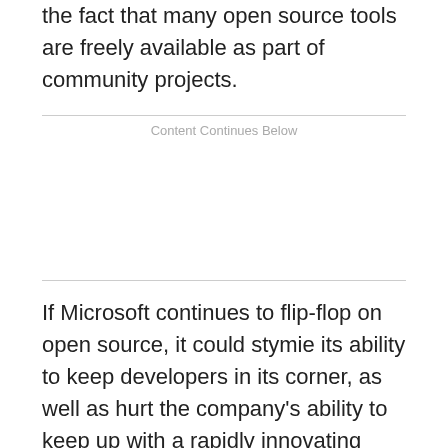the fact that many open source tools are freely available as part of community projects.
Content Continues Below
If Microsoft continues to flip-flop on open source, it could stymie its ability to keep developers in its corner, as well as hurt the company's ability to keep up with a rapidly innovating market. "There is a constant demand for better ways to do things, better ways to compete, and the innovation that meets this demand typically never comes from a large organization," says Joe Lindsay, vice president of engineering for interactive media firm Brand